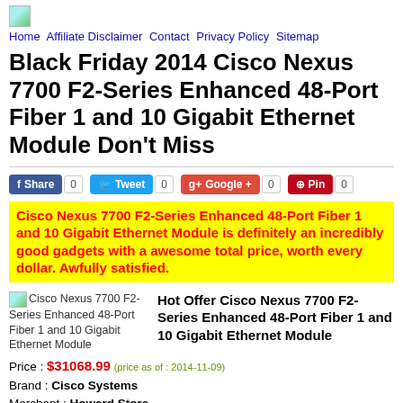Home Affiliate Disclaimer Contact Privacy Policy Sitemap
Black Friday 2014 Cisco Nexus 7700 F2-Series Enhanced 48-Port Fiber 1 and 10 Gigabit Ethernet Module Don't Miss
Cisco Nexus 7700 F2-Series Enhanced 48-Port Fiber 1 and 10 Gigabit Ethernet Module is definitely an incredibly good gadgets with a awesome total price, worth every dollar. Awfully satisfied.
[Figure (other): Product image placeholder for Cisco Nexus 7700 F2-Series Enhanced 48-Port Fiber 1 and 10 Gigabit Ethernet Module]
Hot Offer Cisco Nexus 7700 F2-Series Enhanced 48-Port Fiber 1 and 10 Gigabit Ethernet Module
Price : $31068.99 (price as of : 2014-11-09)
Brand : Cisco Systems
Merchant : Howard Store